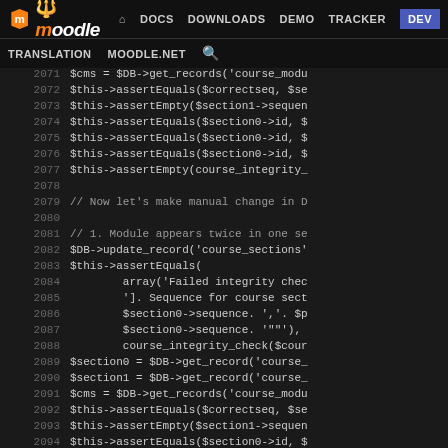moodle DOCS DOWNLOADS DEMO TRACKER DEV TRANSLATION MOODLE.NET
[Figure (screenshot): Moodle developer site navigation bar with logo and nav links including DOCS, DOWNLOADS, DEMO, TRACKER, DEV (active/highlighted in blue), TRANSLATION, MOODLE.NET, and search icon]
Code listing lines 2071-2096 showing PHP unit test code with course integrity checks, DB updates, and assertions